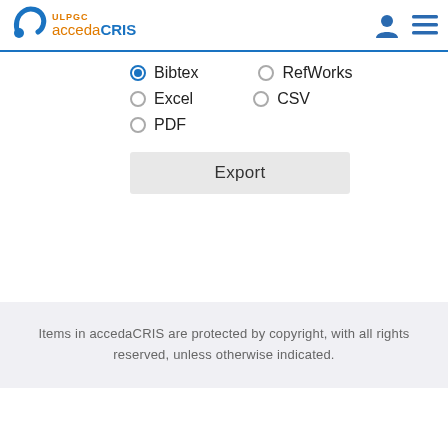ULPGC accedaCRIS
Bibtex
RefWorks
Excel
CSV
PDF
Export
Items in accedaCRIS are protected by copyright, with all rights reserved, unless otherwise indicated.